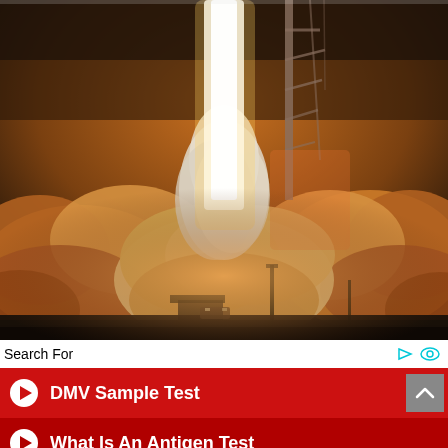[Figure (photo): Rocket launch with large plumes of orange and white smoke billowing outward at the base, bright white flame shooting upward, launch tower visible in background against dark cloudy sky.]
Search For
DMV Sample Test
What Is An Antigen Test